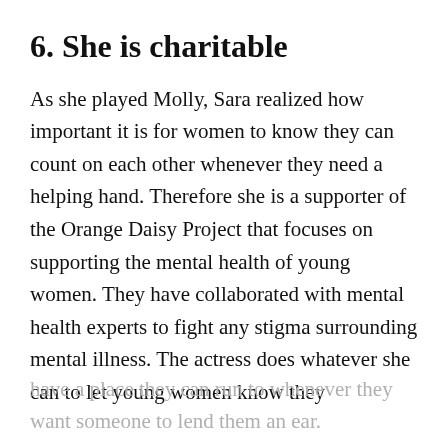6. She is charitable
As she played Molly, Sara realized how important it is for women to know they can count on each other whenever they need a helping hand. Therefore she is a supporter of the Orange Daisy Project that focuses on supporting the mental health of young women. They have collaborated with mental health experts to fight any stigma surrounding mental illness. The actress does whatever she can to let young women know they
have a place they can run to whenever they want someone to lend them an ear.